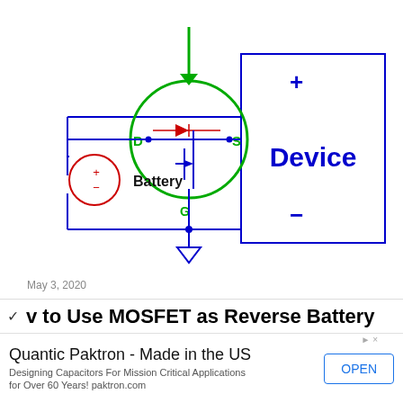[Figure (circuit-diagram): MOSFET circuit diagram used as reverse battery protection. Shows a P-channel or N-channel MOSFET with gate (G), drain (D), and source (S) terminals inside a green circle with a green arrow pointing to the MOSFET from above. The MOSFET symbol includes an internal body diode (red). Circuit connects a battery (red circle with + and - symbols, labeled 'Battery') on the left, the MOSFET in series, and a device (blue rectangle labeled 'Device' with + and - terminals) on the right. Ground symbol at the bottom of the gate connection. All wiring in blue.]
May 3, 2020
v to Use MOSFET as Reverse Battery
Quantic Paktron - Made in the US
Designing Capacitors For Mission Critical Applications for Over 60 Years! paktron.com